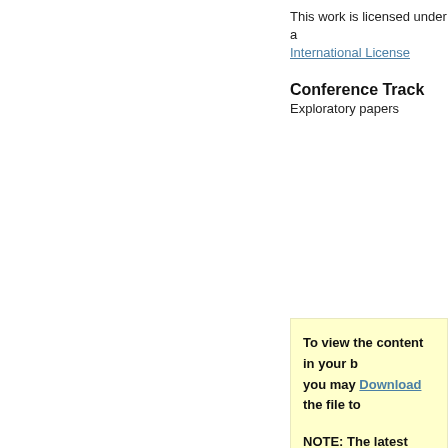This work is licensed under a International License
Conference Track
Exploratory papers
To view the content in your b you may Download the file to NOTE: The latest versions of A using a modern (Intel) Mac, t